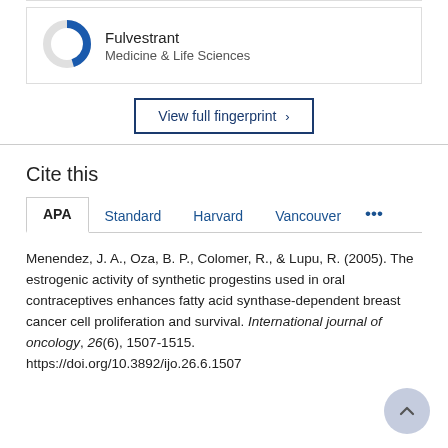[Figure (donut-chart): Donut chart showing approximately 70% fill for Fulvestrant in Medicine & Life Sciences, with blue segment on upper-left portion and gray background ring.]
Fulvestrant
Medicine & Life Sciences
View full fingerprint ›
Cite this
APA | Standard | Harvard | Vancouver | ...
Menendez, J. A., Oza, B. P., Colomer, R., & Lupu, R. (2005). The estrogenic activity of synthetic progestins used in oral contraceptives enhances fatty acid synthase-dependent breast cancer cell proliferation and survival. International journal of oncology, 26(6), 1507-1515.
https://doi.org/10.3892/ijo.26.6.1507